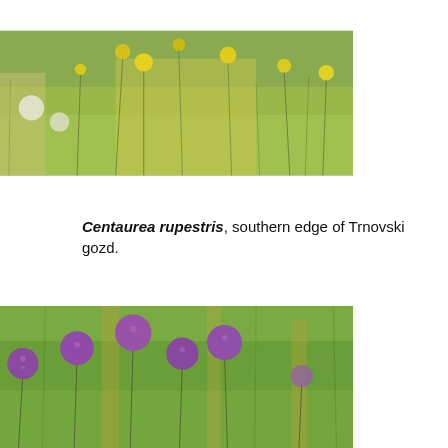[Figure (photo): Partial photo of Centaurea rupestris plant with yellow flowers in a grassy meadow, cropped at top of page]
Centaurea rupestris, southern edge of Trnovski gozd.
[Figure (photo): Photo of Allium sphaerocephalon plants with round purple flower heads on thin stems in a grassy field]
Allium sphaerocephalon, southern edge of Trnovski gozd.
[Figure (photo): Partial photo of rocky surface with small plants growing in crevices, shown in black and white tones, cropped at bottom of page]